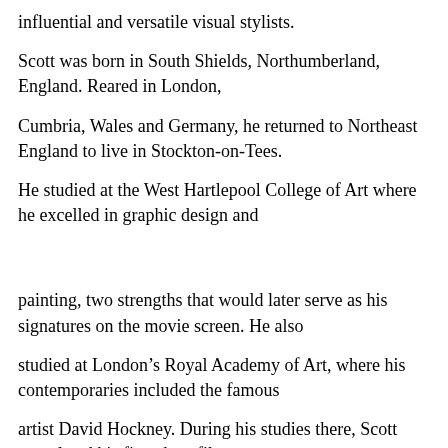influential and versatile visual stylists.
Scott was born in South Shields, Northumberland, England. Reared in London,
Cumbria, Wales and Germany, he returned to Northeast England to live in Stockton-on-Tees.
He studied at the West Hartlepool College of Art where he excelled in graphic design and
painting, two strengths that would later serve as his signatures on the movie screen. He also
studied at London's Royal Academy of Art, where his contemporaries included the famous
artist David Hockney. During his studies there, Scott completed his first short film.
Graduating with honors, Scott was awarded a traveling scholarship